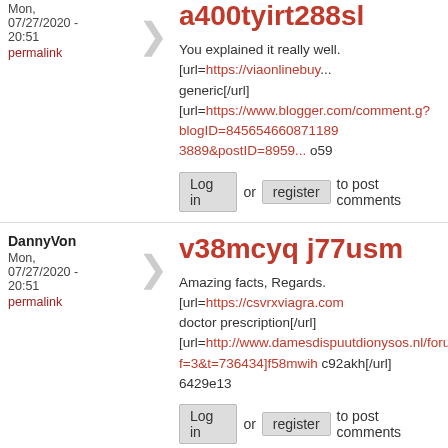a400tyirt288sl
Mon, 07/27/2020 - 20:51
permalink
You explained it really well. [url=https://viaonlinebuy... generic[/url] [url=https://www.blogger.com/comment.g?blogID=845654660871 1893889&postID=8959... o5...
Log in or register to post comments
DannyVon
Mon, 07/27/2020 - 20:51
permalink
v38mcyq j77usm
Amazing facts, Regards. [url=https://csvrxviagra.com... doctor prescription[/url] [url=http://www.damesdispuutdionysos.nl/forum/vi... f=3&t=736434]f58mwih c92akh[/url] 6429e13
Log in or register to post comments
GregoryDraml
Mon, 07/27/2020 - 20:51
permalink
b80hqlp j14ymo
Information very well considered.. [url=https://... Effects Of Tadalafil Tablets[/url] v72kwna u52rbt e13ace3